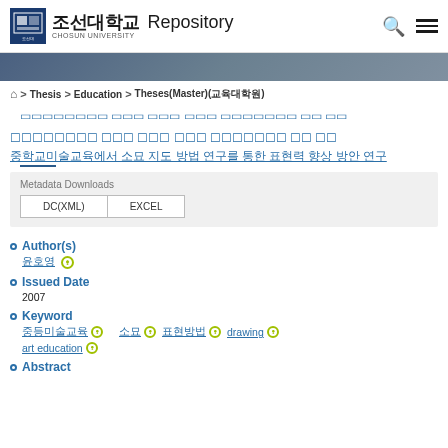조선대학교 Repository
[Figure (logo): Chosun University Repository logo with Korean text 조선대학교 and CHOSUN UNIVERSITY subtitle]
🏠 > Thesis > Education > Theses(Master)(교육대학원)
중학교미술교육에서 소묘 지도 방법 연구를 통한 표현력 향상 방안 연구
Metadata Downloads
DC(XML)
EXCEL
Author(s)
윤호영
Issued Date
2007
Keyword
중등미술교육 소묘 표현방법 drawing art education
Abstract